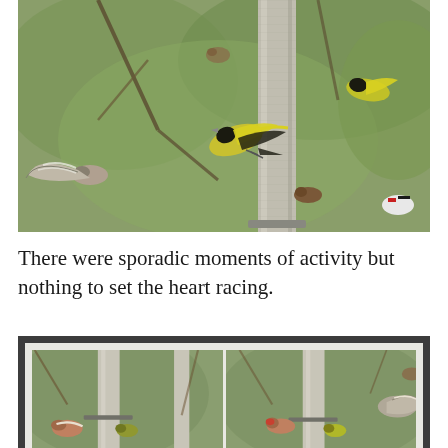[Figure (photo): Photograph of multiple birds including a yellow-black siskin clinging to a bird feeder pole, a chaffinch-like bird with spread wings on the left, and other birds at a garden bird feeder surrounded by blurred green foliage and branches.]
There were sporadic moments of activity but nothing to set the heart racing.
[Figure (photo): A framed composite of two side-by-side photos showing birds at a garden bird feeder, including a chaffinch and a small yellow-green siskin perched on the feeder, and a bird with spread wings on the right side panel.]